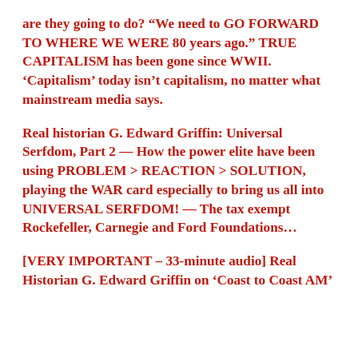are they going to do? “We need to GO FORWARD TO WHERE WE WERE 80 years ago.” TRUE CAPITALISM has been gone since WWII. ‘Capitalism’ today isn’t capitalism, no matter what mainstream media says.
Real historian G. Edward Griffin: Universal Serfdom, Part 2 — How the power elite have been using PROBLEM > REACTION > SOLUTION, playing the WAR card especially to bring us all into UNIVERSAL SERFDOM! — The tax exempt Rockefeller, Carnegie and Ford Foundations…
[VERY IMPORTANT – 33-minute audio] Real Historian G. Edward Griffin on ‘Coast to Coast AM’